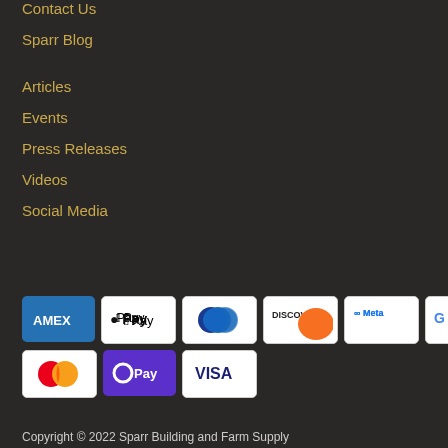Contact Us
Sparr Blog
Articles
Events
Press Releases
Videos
Social Media
[Figure (other): Payment method icons: American Express, Apple Pay, Diners Club, Discover, Meta Pay, Google Pay, Mastercard, Samsung Pay (O Pay), Visa]
Copyright © 2022 Sparr Building and Farm Supply